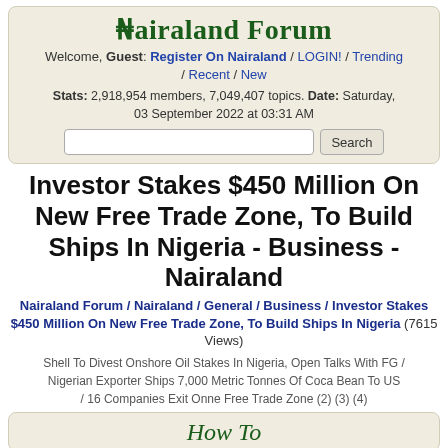Nairaland Forum
Welcome, Guest: Register On Nairaland / LOGIN! / Trending / Recent / New
Stats: 2,918,954 members, 7,049,407 topics. Date: Saturday, 03 September 2022 at 03:31 AM
Investor Stakes $450 Million On New Free Trade Zone, To Build Ships In Nigeria - Business - Nairaland
Nairaland Forum / Nairaland / General / Business / Investor Stakes $450 Million On New Free Trade Zone, To Build Ships In Nigeria (7615 Views)
Shell To Divest Onshore Oil Stakes In Nigeria, Open Talks With FG / Nigerian Exporter Ships 7,000 Metric Tonnes Of Coca Bean To US / 16 Companies Exit Onne Free Trade Zone (2) (3) (4)
How To